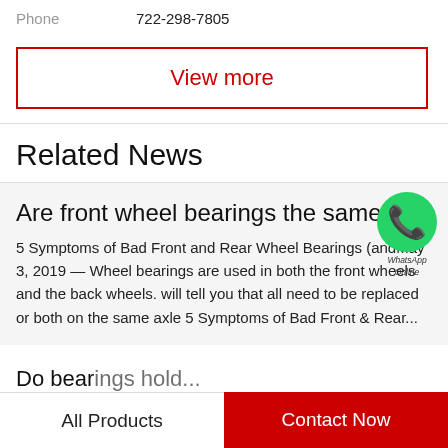Phone   722-298-7805
View more
Related News
Are front wheel bearings the same...
5 Symptoms of Bad Front and Rear Wheel Bearings (andMay 3, 2019 — Wheel bearings are used in both the front wheels and the back wheels. will tell you that all need to be replaced or both on the same axle 5 Symptoms of Bad Front & Rear...
[Figure (logo): WhatsApp green circular logo with phone icon, labeled 'WhatsApp Online']
All Products   Contact Now